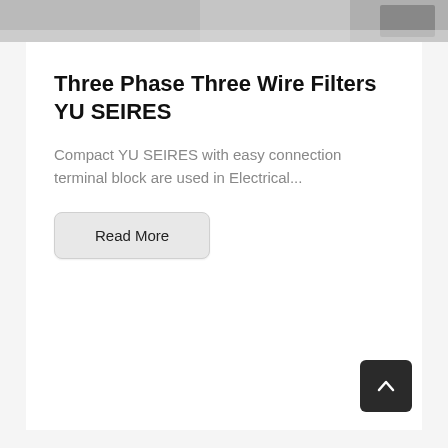[Figure (photo): Partial view of product image at top of page (cropped), showing metallic/electrical filter components on grey background]
Three Phase Three Wire Filters YU SEIRES
Compact YU SEIRES with easy connection terminal block are used in Electrical...
Read More